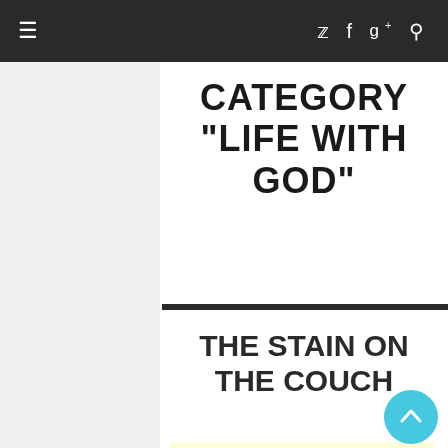≡  ꀂ f g+ 🔍
CATEGORY "LIFE WITH GOD"
THE STAIN ON THE COUCH
Brian Dolleman - May 25, 2010 - Life With God, Uncategorized